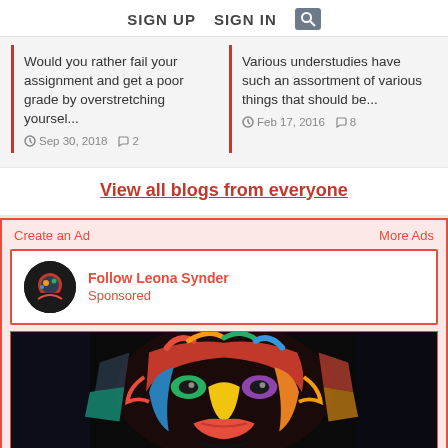SIGN UP   SIGN IN   [search icon]
Would you rather fail your assignment and get a poor grade by overstretching yoursel...
Sep 30, 2018   2
Various understudies have such an assortment of various things that should be...
Feb 17, 2016   8
View all blogs from everyone
Create an Ad
More Ads
Follow Leona Synder
Sponsored
[Figure (illustration): Colorful abstract portrait painting of a face with vibrant multicolored paint design]